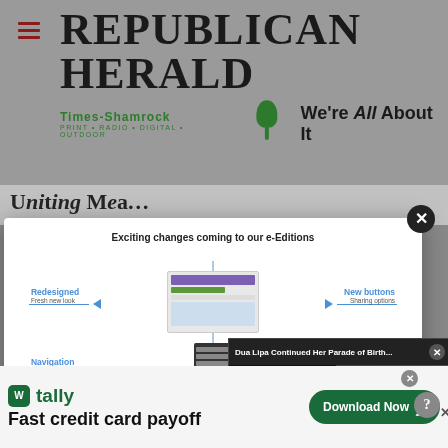[Figure (screenshot): Republican Herald newspaper website header with Times-Shamrock branding and 'We're All About It' slogan]
[Figure (screenshot): Modal popup showing 'Exciting changes coming to our e-Editions' with redesigned navigation callouts]
[Figure (screenshot): Video popup overlay titled 'Dua Lipa Continued Her Parade of Birth...' showing woman in black and pink outfit with mute button]
[Figure (screenshot): Tally app advertisement banner — 'Fast credit card payoff' with Download Now button]